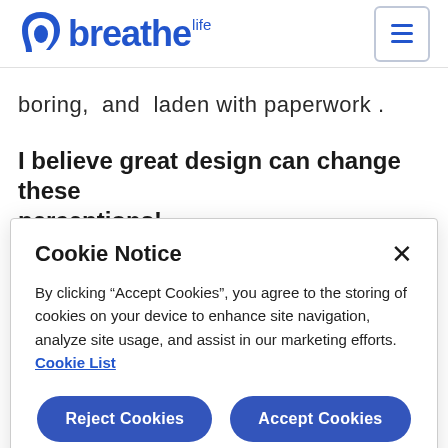breathe life
boring, and laden with paperwork .
I believe great design can change these perceptions!
Cookie Notice
By clicking “Accept Cookies”, you agree to the storing of cookies on your device to enhance site navigation, analyze site usage, and assist in our marketing efforts. Cookie List
Reject Cookies
Accept Cookies
Cookie Preferences